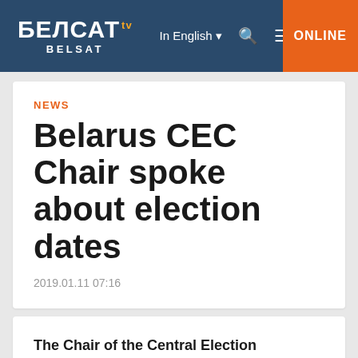БЕЛСАТ tv BELSAT | In English | ONLINE
NEWS
Belarus CEC Chair spoke about election dates
2019.01.11 07:16
The Chair of the Central Election